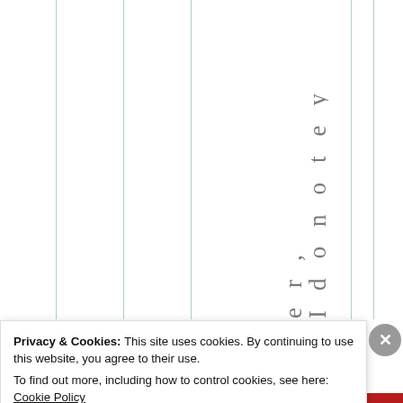[Figure (screenshot): Partial table with vertical teal/green column lines visible on a white background, with rotated/vertical text characters 'er, Idonotey' displayed vertically in a gray serif font in the right portion of the table area.]
Privacy & Cookies: This site uses cookies. By continuing to use this website, you agree to their use.
To find out more, including how to control cookies, see here: Cookie Policy
Close and accept